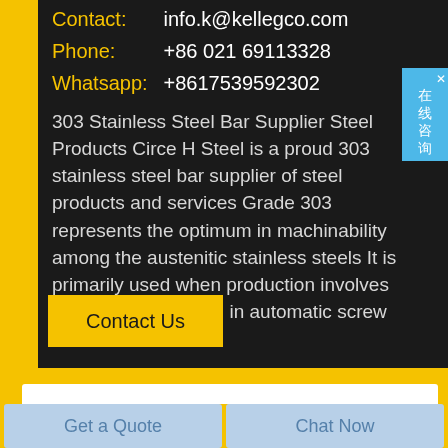Contact: info.k@kellegco.com
Phone: +86 021 69113328
Whatsapp: +8617539592302
303 Stainless Steel Bar Supplier Steel Products Circe H Steel is a proud 303 stainless steel bar supplier of steel products and services Grade 303 represents the optimum in machinability among the austenitic stainless steels It is primarily used when production involves extensive machining in automatic screw machines
在线咨询
Contact Us
Get a Quote
Chat Now